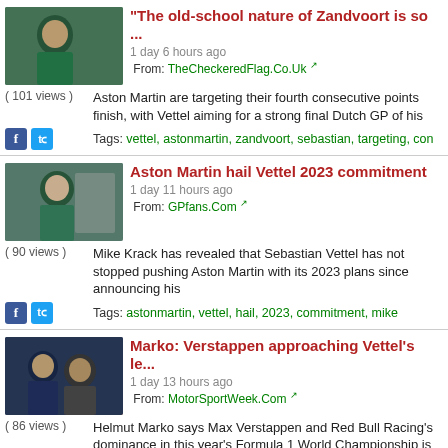"The old-school nature of Zandvoort is so ... | 1 day 6 hours ago | From: TheCheckeredFlag.Co.Uk | (101 views) Aston Martin are targeting their fourth consecutive points finish, with Vettel aiming for a strong final Dutch GP of his | Tags: vettel, astonmartin, zandvoort, sebastian, targeting, con
Aston Martin hail Vettel 2023 commitment | 1 day 11 hours ago | From: GPfans.Com | (90 views) Mike Krack has revealed that Sebastian Vettel has not stopped pushing Aston Martin with its 2023 plans since announcing his | Tags: astonmartin, vettel, hail, 2023, commitment, mike
Marko: Verstappen approaching Vettel's le... | 1 day 13 hours ago | From: MotorSportWeek.Com | (86 views) Helmut Marko says Max Verstappen and Red Bull Racing's dominance in this year's Formula 1 World Championship is the first | Tags: verstappen, redbull, vettel, marko, approaching, vettels
Aston Martin: Vettel still trying to help wit... | 1 day 15 hours ago | From: Autosport.Com | Vettel announced at the Hungarian GP that he will leave F1 at the